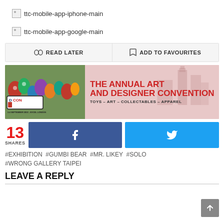[Figure (other): Broken image placeholder for ttc-mobile-app-iphone-main]
[Figure (other): Broken image placeholder for ttc-mobile-app-google-main]
READ LATER | ADD TO FAVOURITES (action buttons)
[Figure (other): DCON advertisement banner — The Annual Art and Designer Convention, Toys - Art - Collectables - Apparel, 3-4 September 2022 - Excel London]
13 SHARES (Facebook and Twitter share buttons)
#EXHIBITION #GUMBI BEAR #MR. LIKEY #SOLO #WRONG GALLERY TAIPEI
LEAVE A REPLY